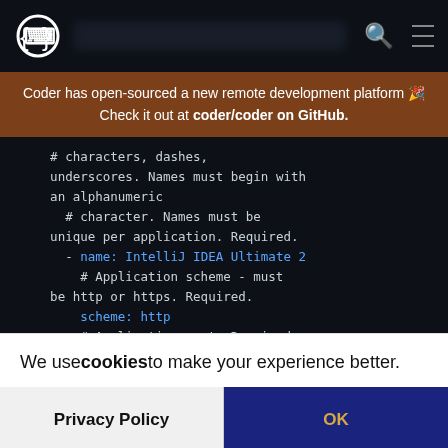Navigation bar with Coder logo, blurred URL, search icon, and menu icon
Coder has open-sourced a new remote development platform 🎉 Check it out at coder/coder on GitHub.
[Figure (screenshot): Code block on dark background showing YAML configuration comments and key-value pairs: # characters, dashes, underscores. Names must begin with an alphanumeric # character. Names must be unique per application. Required. - name: IntelliJ IDEA Ultimate 2 # Application scheme - must be http or https. Required. scheme: http # Application port. Required.]
We use cookies to make your experience better.
Privacy Policy
OK